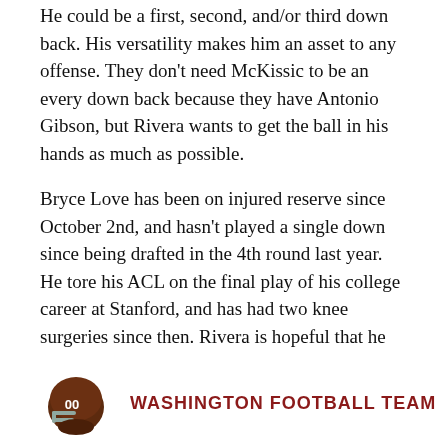He could be a first, second, and/or third down back. His versatility makes him an asset to any offense. They don't need McKissic to be an every down back because they have Antonio Gibson, but Rivera wants to get the ball in his hands as much as possible.
Bryce Love has been on injured reserve since October 2nd, and hasn't played a single down since being drafted in the 4th round last year. He tore his ACL on the final play of his college career at Stanford, and has had two knee surgeries since then. Rivera is hopeful that he can return this year, and thinks the opportunity to get him back on the field is coming soon.
Injury update:
[Figure (logo): Washington Football Team helmet logo (dark maroon/brown helmet with number 00) and team name text]